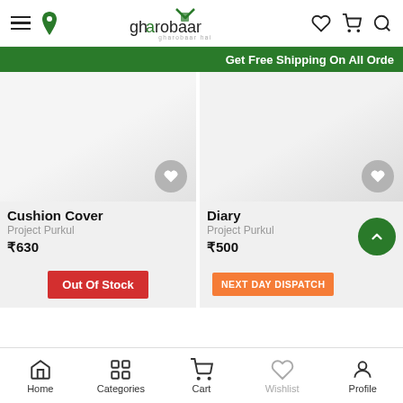gharobaar — app header with hamburger menu, location pin, logo, wishlist, cart, search icons
Get Free Shipping On All Orde
[Figure (screenshot): Product card for Cushion Cover by Project Purkul, priced ₹630, with wishlist heart button]
[Figure (screenshot): Product card for Diary by Project Purkul, priced ₹500, with wishlist heart button and back-to-top green circle button]
Cushion Cover
Project Purkul
₹630
Diary
Project Purkul
₹500
Out Of Stock
NEXT DAY DISPATCH
Home | Categories | Cart | Wishlist | Profile